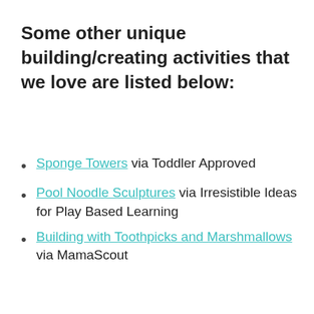Some other unique building/creating activities that we love are listed below:
Sponge Towers via Toddler Approved
Pool Noodle Sculptures via Irresistible Ideas for Play Based Learning
Building with Toothpicks and Marshmallows via MamaScout